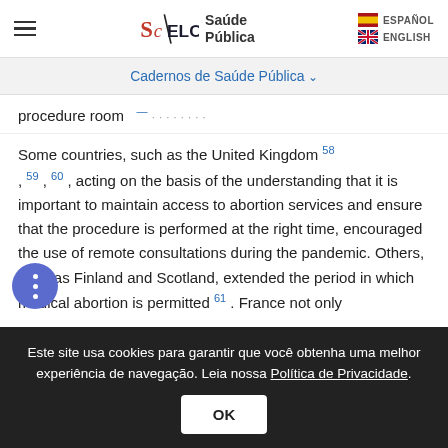SciELO Saúde Pública — ESPAÑOL / ENGLISH
Cadernos de Saúde Pública
procedure room [references]
Some countries, such as the United Kingdom 58, 59, 60, acting on the basis of the understanding that it is important to maintain access to abortion services and ensure that the procedure is performed at the right time, encouraged the use of remote consultations during the pandemic. Others, such as Finland and Scotland, extended the period in which medical abortion is permitted 61. France not only
Este site usa cookies para garantir que você obtenha uma melhor experiência de navegação. Leia nossa Política de Privacidade.
OK